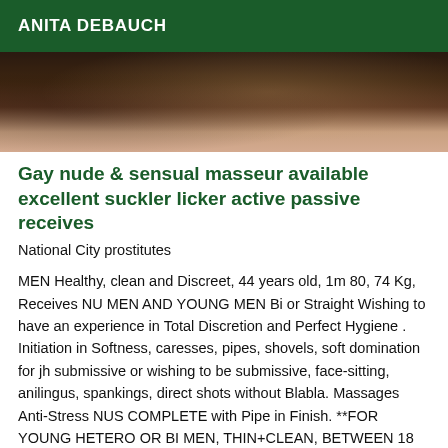ANITA DEBAUCH
[Figure (photo): Close-up photo showing dark patterned fabric/clothing on the left and bare skin on the right, partially visible at top of page]
Gay nude & sensual masseur available excellent suckler licker active passive receives
National City prostitutes
MEN Healthy, clean and Discreet, 44 years old, 1m 80, 74 Kg, Receives NU MEN AND YOUNG MEN Bi or Straight Wishing to have an experience in Total Discretion and Perfect Hygiene . Initiation in Softness, caresses, pipes, shovels, soft domination for jh submissive or wishing to be submissive, face-sitting, anilingus, spankings, direct shots without Blabla. Massages Anti-Stress NUS COMPLETE with Pipe in Finish. **FOR YOUNG HETERO OR BI MEN, THIN+CLEAN, BETWEEN 18 AND 34 YEARS OLD –